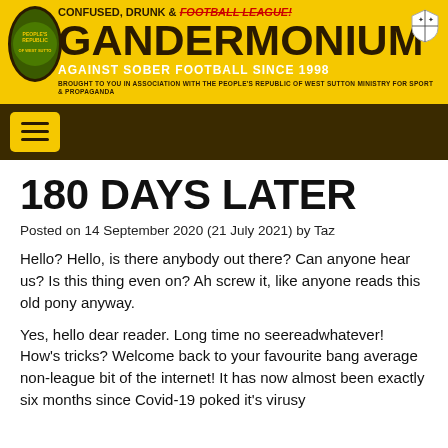CONFUSED, DRUNK & FOOTBALL LEAGUE! GANDERMONIUM AGAINST SOBER FOOTBALL SINCE 1998 Brought to you in association with the People's Republic of West Sutton Ministry for Sport & Propaganda
[Figure (other): Navigation bar with hamburger menu button on dark brown background]
180 Days Later
Posted on 14 September 2020 (21 July 2021) by Taz
Hello? Hello, is there anybody out there? Can anyone hear us? Is this thing even on? Ah screw it, like anyone reads this old pony anyway.
Yes, hello dear reader. Long time no seereadwhatever! How's tricks? Welcome back to your favourite bang average non-league bit of the internet! It has now almost been exactly six months since Covid-19 poked it's virusy